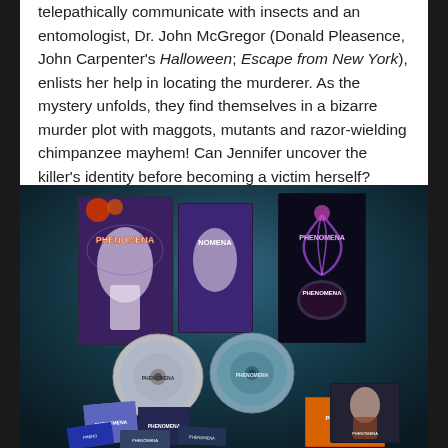telepathically communicate with insects and an entomologist, Dr. John McGregor (Donald Pleasence, John Carpenter's Halloween; Escape from New York), enlists her help in locating the murderer. As the mystery unfolds, they find themselves in a bizarre murder plot with maggots, mutants and razor-wielding chimpanzee mayhem! Can Jennifer uncover the killer's identity before becoming a victim herself?
[Figure (photo): Promotional product photo showing multiple Phenomena Blu-ray/DVD box set editions including slipcase boxes, discs, and booklets arranged on a dark teal/blue textured surface.]